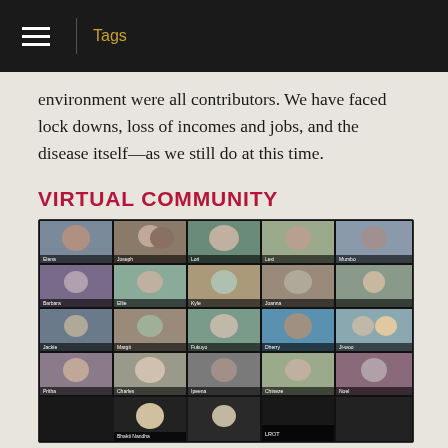Tags
environment were all contributors. We have faced lock downs, loss of incomes and jobs, and the disease itself—as we still do at this time.
VIRTUAL COMMUNITY
[Figure (photo): A video call grid showing approximately 25 participants in a virtual community meeting, displayed in a Zoom-style layout with name labels at the bottom of each video tile.]
“And let us consider how to stir up one another to love and